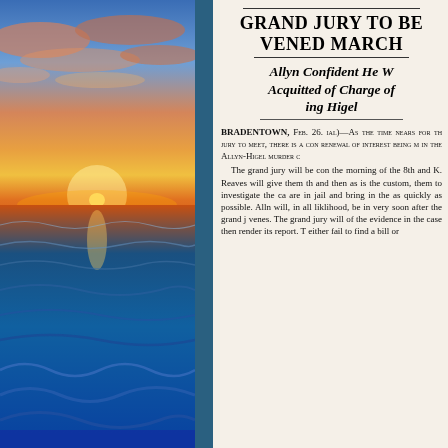[Figure (photo): Ocean sunset photograph with vivid orange and pink sky above blue ocean waves]
GRAND JURY TO BE VENED MARCH
Allyn Confident He W Acquitted of Charge of ing Higel
BRADENTOWN, Feb. 26. ial)—As the time nears for th jury to meet, there is a con renewal of interest being m in the Allyn-Higel murder c The grand jury will be con the morning of the 8th and K. Reaves will give them th and then as is the custom, them to investigate the ca are in jail and bring in the as quickly as possible. Alln will, in all liklihood, be in very soon after the grand j venes. The grand jury will of the evidence in the case then render its report. T either fail to find a bill or